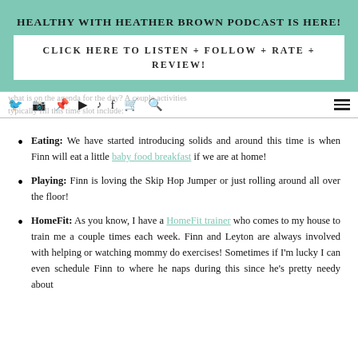HEALTHY WITH HEATHER BROWN PODCAST IS HERE!
CLICK HERE TO LISTEN + FOLLOW + RATE + REVIEW!
what is on the agenda for the day? A couple activities typically fill this time slot include:
Eating: We have started introducing solids and around this time is when Finn will eat a little baby food breakfast if we are at home!
Playing: Finn is loving the Skip Hop Jumper or just rolling around all over the floor!
HomeFit: As you know, I have a HomeFit trainer who comes to my house to train me a couple times each week. Finn and Leyton are always involved with helping or watching mommy do exercises! Sometimes if I'm lucky I can even schedule Finn to where he naps during this since he's pretty needy about